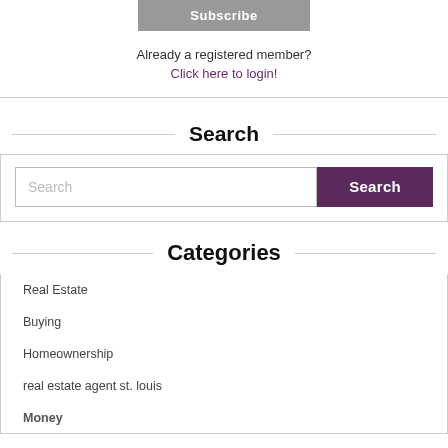Subscribe
Already a registered member?
Click here to login!
Search
Search (input placeholder)
Search (button)
Categories
Real Estate
Buying
Homeownership
real estate agent st. louis
Money